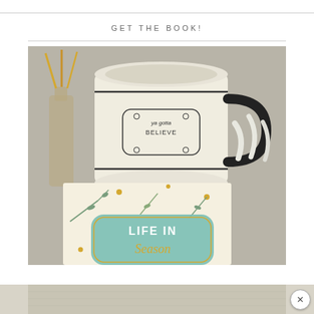GET THE BOOK!
[Figure (photo): A lifestyle photo showing a ceramic mug with 'ya gotta BELIEVE' text and floral decorations, next to a glass bottle with feather quills, and a book titled 'LIFE IN Season' with a botanical floral cover design sitting on a surface. White feathers visible to the right.]
[Figure (photo): Partial bottom advertisement banner, cropped view of what appears to be fabric or paper material in light tones.]